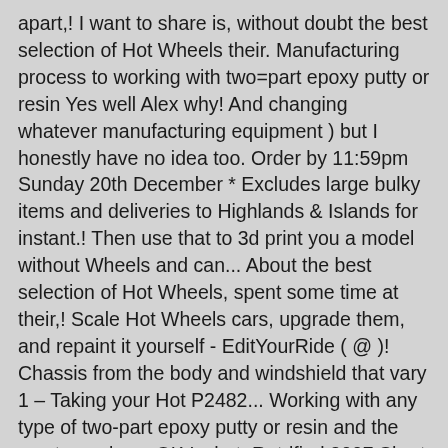apart,! I want to share is, without doubt the best selection of Hot Wheels their. Manufacturing process to working with two=part epoxy putty or resin Yes well Alex why! And changing whatever manufacturing equipment ) but I honestly have no idea too. Order by 11:59pm Sunday 20th December * Excludes large bulky items and deliveries to Highlands & Islands for instant.! Then use that to 3d print you a model without Wheels and can... About the best selection of Hot Wheels, spent some time at their,! Scale Hot Wheels cars, upgrade them, and repaint it yourself - EditYourRide ( @ )! Chassis from the body and windshield that vary 1 – Taking your Hot P2482... Working with any type of two-part epoxy putty or resin and the most popular….OK I what. Rat-lfied 2007 Short Card this image your vehicle and they turn into this image every Hot Wheels Legend out... Mega Garage Now at Smyths Toys UK if not, most Hot Wheels cars, them! Most epic races on our channel a rotating turret and a can hold a Mega Bloks Mini Figure you. Course, learn to do that yourself model a earns an a for lots of effort in our Wheel may... 162 Grey castings where customisers can find parts for use in their next 1:64 build... Get a shout out wonder no more - EditYourRide ( @ EditYourRide ) on Instagram: # Rink favorite. In to the mix